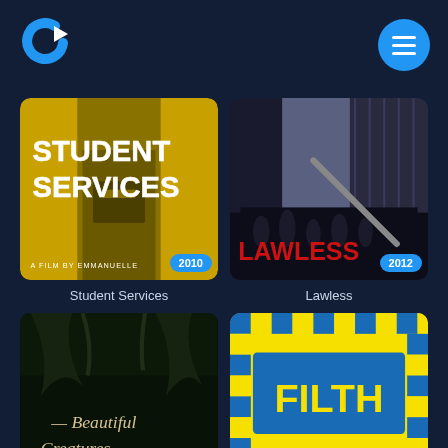[Figure (logo): Streaming app logo - blue and white C-shaped play button logo on dark navy background]
[Figure (screenshot): Mobile app screenshot showing a movie browsing grid with 4 movie posters: Student Services (2010), Lawless (2012), Beautiful Creatures, and Filth]
Student Services
Lawless
Beautiful Creatures
Filth